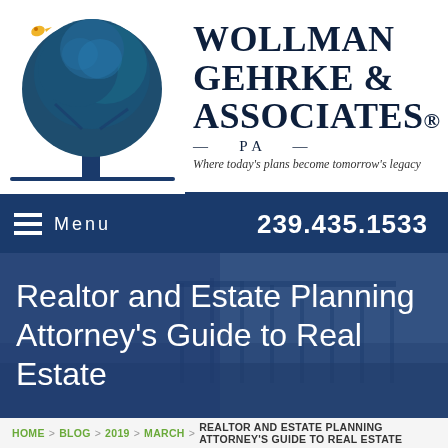[Figure (logo): Wollman Gehrke & Associates law firm logo: teal/dark blue oak tree with a small yellow bird, firm name in large serif text, tagline 'Where today’s plans become tomorrow’s legacy']
Menu   239.435.1533
Realtor and Estate Planning Attorney’s Guide to Real Estate
Home > Blog > 2019 > March > Realtor and Estate Planning Attorney’s Guide to Real Estate